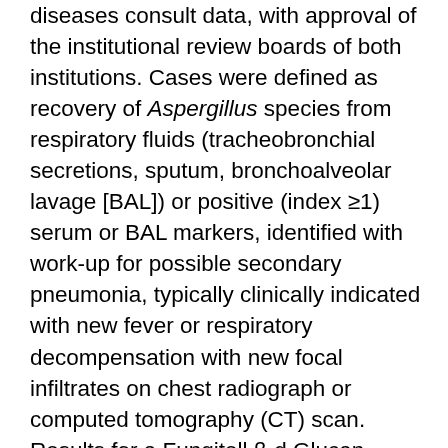diseases consult data, with approval of the institutional review boards of both institutions. Cases were defined as recovery of Aspergillus species from respiratory fluids (tracheobronchial secretions, sputum, bronchoalveolar lavage [BAL]) or positive (index ≥1) serum or BAL markers, identified with work-up for possible secondary pneumonia, typically clinically indicated with new fever or respiratory decompensation with new focal infiltrates on chest radiograph or computed tomography (CT) scan. Results for a Fungitell β-d Glucan Assay ( https://www.fungitell.com ) were reported when available but did not suffice to establish case diagnosis; 60 pg/mL was considered intermediate and ≥80 pg/mL was considered positive. Neither center used PCR-based testing for fungal infections during this period. Charts were reviewed to summarize demographic, clinical, and outcomes data